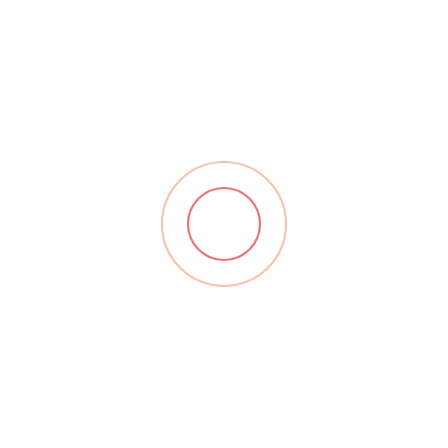[Figure (other): Two concentric circles centered slightly left of center on a white background. The outer circle is larger with a light peach/salmon color stroke. The inner circle is smaller with a more vivid coral/red stroke. Both circles are unfilled (transparent interior).]